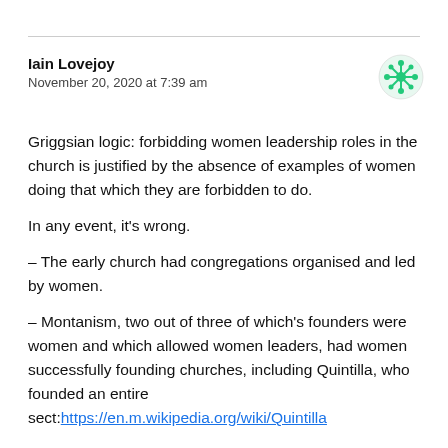Iain Lovejoy
November 20, 2020 at 7:39 am
[Figure (illustration): Green decorative avatar/icon with geometric pattern]
Griggsian logic: forbidding women leadership roles in the church is justified by the absence of examples of women doing that which they are forbidden to do.
In any event, it's wrong.
– The early church had congregations organised and led by women.
– Montanism, two out of three of which's founders were women and which allowed women leaders, had women successfully founding churches, including Quintilla, who founded an entire sect:https://en.m.wikipedia.org/wiki/Quintilla